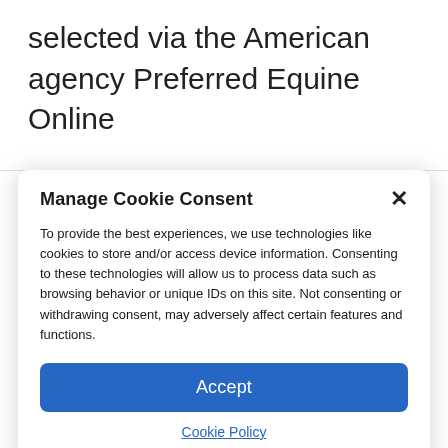selected via the American agency Preferred Equine Online
5/ From July 13, grouping of horses sold for quarantine and additional analyzes in order to ratify the sale.
" As everyone needs horses, especially
Manage Cookie Consent
To provide the best experiences, we use technologies like cookies to store and/or access device information. Consenting to these technologies will allow us to process data such as browsing behavior or unique IDs on this site. Not consenting or withdrawing consent, may adversely affect certain features and functions.
Accept
Cookie Policy